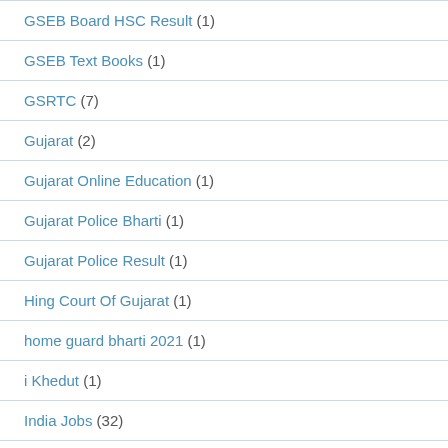GSEB Board HSC Result (1)
GSEB Text Books (1)
GSRTC (7)
Gujarat (2)
Gujarat Online Education (1)
Gujarat Police Bharti (1)
Gujarat Police Result (1)
Hing Court Of Gujarat (1)
home guard bharti 2021 (1)
i Khedut (1)
India Jobs (32)
IPL 2022 Schedule (1)
IPL Live Match (1)
Jobs (161)
Jobs Update (207)